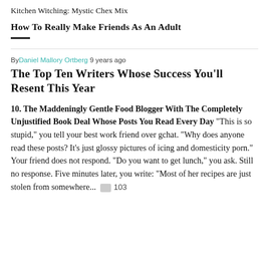Kitchen Witching: Mystic Chex Mix
How To Really Make Friends As An Adult
By Daniel Mallory Ortberg 9 years ago
The Top Ten Writers Whose Success You'll Resent This Year
10. The Maddeningly Gentle Food Blogger With The Completely Unjustified Book Deal Whose Posts You Read Every Day "This is so stupid," you tell your best work friend over gchat. "Why does anyone read these posts? It's just glossy pictures of icing and domesticity porn." Your friend does not respond. "Do you want to get lunch," you ask. Still no response. Five minutes later, you write: "Most of her recipes are just stolen from somewhere... 103